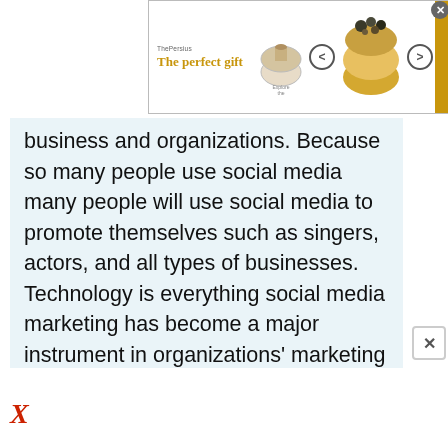[Figure (infographic): Advertisement banner for 'The perfect gift' showing a decorative bowl, navigation arrows, and a promotional badge with 35% off and FREE SHIPPING]
business and organizations. Because so many people use social media many people will use social media to promote themselves such as singers, actors, and all types of businesses. Technology is everything social media marketing has become a major instrument in organizations' marketing strategies. The development of many social networks such as Facebook, Twitter, and Insta-gram there are so many avenues available for companies to advertise their products and services. Discuss the four (4) components of a legally astute social media-marketing manager who utilizes social media outlets for consumer transactions and how each component can mitigate the risk involved in doing business in cyberspace. Because of social media, there are many